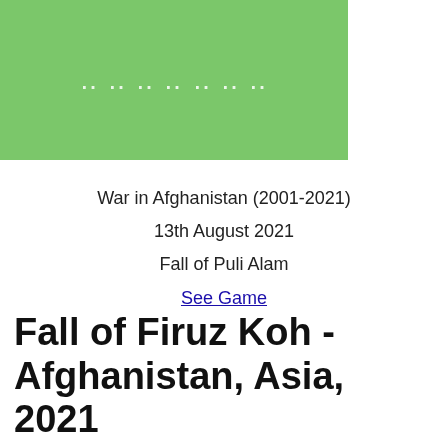[Figure (logo): Green banner logo with white text showing a website name]
War in Afghanistan (2001-2021)
13th August 2021
Fall of Puli Alam
See Game
Fall of Firuz Koh - Afghanistan, Asia, 2021